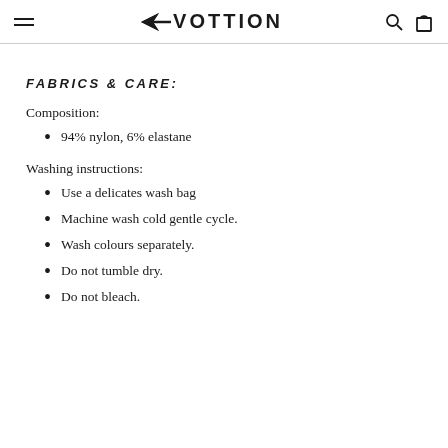VOTTION
FABRICS & CARE:
Composition:
94% nylon, 6% elastane
Washing instructions:
Use a delicates wash bag
Machine wash cold gentle cycle.
Wash colours separately.
Do not tumble dry.
Do not bleach.